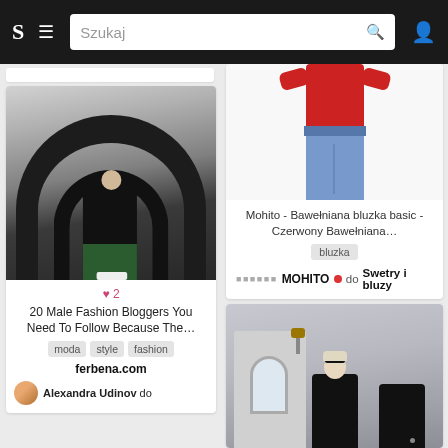S  ≡  Szukaj 🔍  👤
[Figure (photo): Fashion blog card: man posing under a bridge in urban setting, wearing sunglasses, black jacket, green pants, white sneakers. Heart 2 likes shown. Title: 20 Male Fashion Bloggers You Need To Follow Because The... Tags: moda, style, fashion. Source: ferbena.com. Author: Alexandra Udinov do]
[Figure (photo): Fashion product card: woman wearing red long-sleeve top and light blue jeans. Title: Mohito - Bawełniana bluzka basic - Czerwony Bawełniana... Tag: bluzka. Attribution: MOHITO do Swetry i bluzy]
[Figure (photo): Street fashion card: blonde woman wearing black puffer coat and sunglasses, standing in front of a building with arched window and black door.]